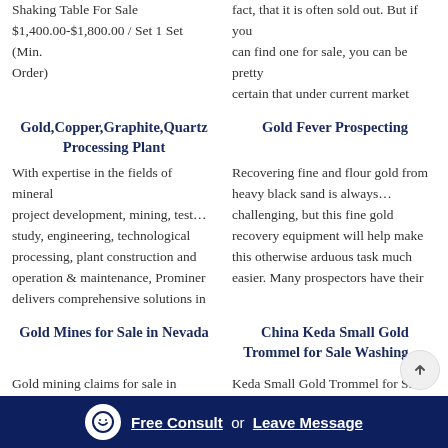Shaking Table For Sale $1,400.00-$1,800.00 / Set 1 Set (Min. Order)
fact, that it is often sold out. But if you can find one for sale, you can be pretty certain that under current market
Gold,Copper,Graphite,Quartz Processing Plant
Gold Fever Prospecting
With expertise in the fields of mineral project development, mining, test… study, engineering, technological processing, plant construction and operation & maintenance, Prominer delivers comprehensive solutions in
Recovering fine and flour gold from heavy black sand is always… challenging, but this fine gold recovery equipment will help make this otherwise arduous task much easier. Many prospectors have their
Gold Mines for Sale in Nevada
China Keda Small Gold Trommel for Sale Washing …
Gold mining claims for sale in Nevada. 20-80 Acre gold mines for…
Keda Small Gold Trommel for Sale Washing Machines picture from…
Free Consult or Leave Message